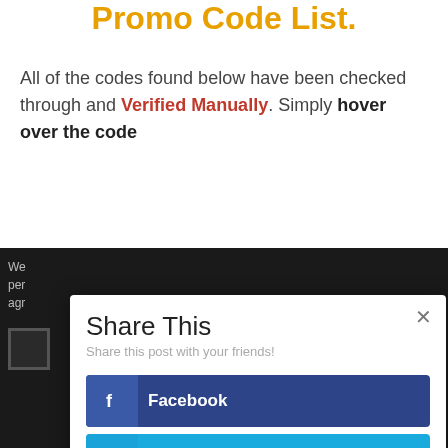Promo Code List.
All of the codes found below have been checked through and Verified Manually. Simply hover over the code
[Figure (screenshot): Share This modal dialog with social sharing buttons: Facebook (dark blue), Twitter (light blue), Pinterest (dark red), Like (coral red). Has a close X button in the top right corner and subtitle 'Share this post with your friends!']
We per agr
×